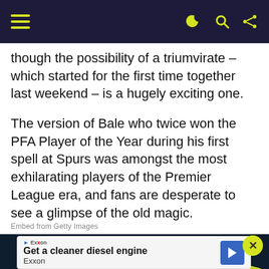Navigation bar with hamburger menu and icons
though the possibility of a triumvirate – which started for the first time together last weekend – is a hugely exciting one.
The version of Bale who twice won the PFA Player of the Year during his first spell at Spurs was amongst the most exhilarating players of the Premier League era, and fans are desperate to see a glimpse of the old magic.
Embed from Getty Images
[Figure (photo): Photo of Gareth Bale with dark background and yellow swoosh overlay, partially visible head with bun hairstyle]
Get a cleaner diesel engine Exxon